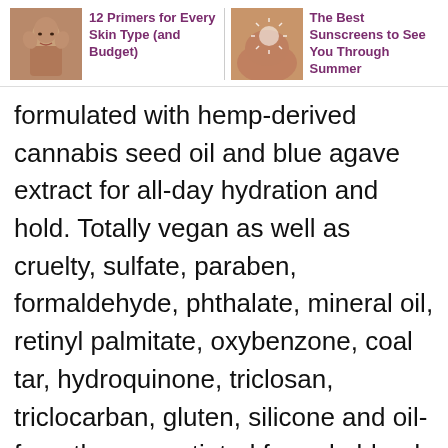12 Primers for Every Skin Type (and Budget)
The Best Sunscreens to See You Through Summer
formulated with hemp-derived cannabis seed oil and blue agave extract for all-day hydration and hold. Totally vegan as well as cruelty, sulfate, paraben, formaldehyde, phthalate, mineral oil, retinyl palmitate, oxybenzone, coal tar, hydroquinone, triclosan, triclocarban, gluten, silicone and oil-free, the green-tinted formula blends in clear to work across all skin tones and types, minimizing redness and leaving skin prepped for foundation.